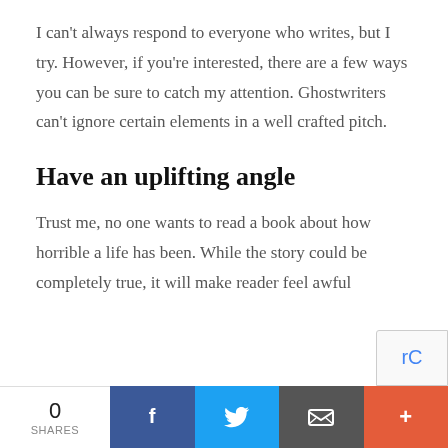I can't always respond to everyone who writes, but I try. However, if you're interested, there are a few ways you can be sure to catch my attention. Ghostwriters can't ignore certain elements in a well crafted pitch.
Have an uplifting angle
Trust me, no one wants to read a book about how horrible a life has been. While the story could be completely true, it will make reader feel awful
0 SHARES | Facebook | Twitter | Email | +